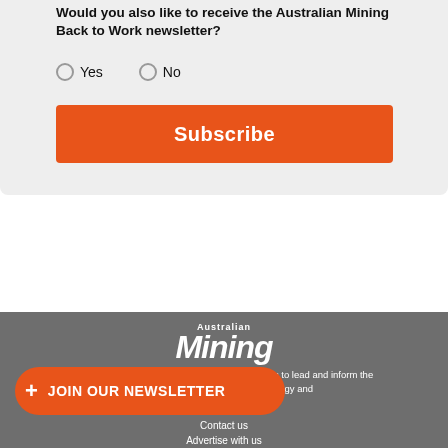Would you also like to receive the Australian Mining Back to Work newsletter?
Yes  No
Subscribe
[Figure (logo): Australian Mining logo in white on grey background]
Established in 1908, Australian Mining continues to lead and inform the [community] [in] ions in mining technology and
+ JOIN OUR NEWSLETTER
Contact us
Advertise with us